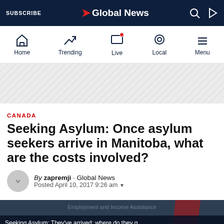SUBSCRIBE | Global News
[Figure (screenshot): Global News mobile navigation bar with Home, Trending, Live, Local, Menu icons]
[Figure (other): Advertisement/promotional diagonal-stripe banner area]
CANADA
Seeking Asylum: Once asylum seekers arrive in Manitoba, what are the costs involved?
By zapremji · Global News
Posted April 10, 2017 9:26 am
[Figure (screenshot): Video thumbnail showing text: Employment and Income Assistance. Seeking Asylum: They've arrived; where do they g... After asylum seekers make the trek over from the ...]